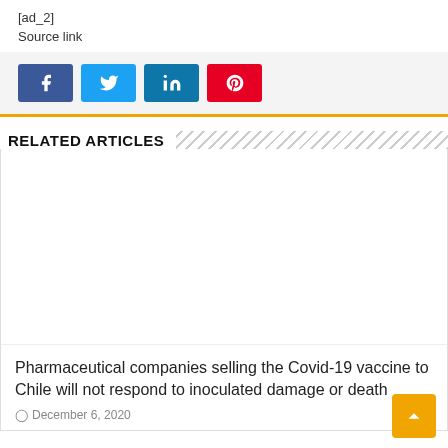[ad_2]
Source link
[Figure (other): Social share buttons: Facebook (blue), Twitter (light blue), LinkedIn (dark cyan), Pinterest (red)]
RELATED ARTICLES
[Figure (photo): Article image placeholder (white/blank)]
Pharmaceutical companies selling the Covid-19 vaccine to Chile will not respond to inoculated damage or death
December 6, 2020